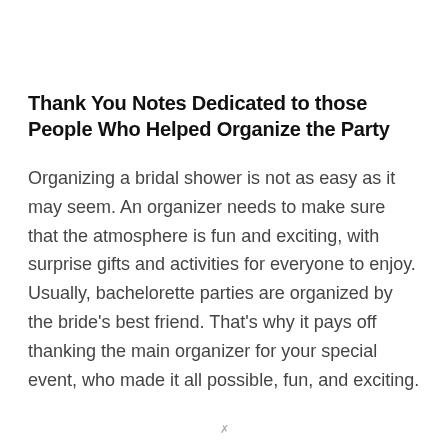Thank You Notes Dedicated to those People Who Helped Organize the Party
Organizing a bridal shower is not as easy as it may seem. An organizer needs to make sure that the atmosphere is fun and exciting, with surprise gifts and activities for everyone to enjoy. Usually, bachelorette parties are organized by the bride's best friend. That's why it pays off thanking the main organizer for your special event, who made it all possible, fun, and exciting.